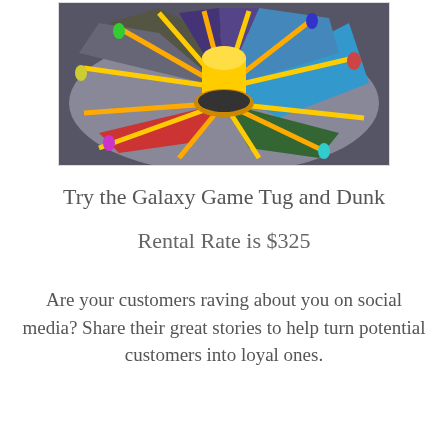[Figure (photo): Aerial view of an inflatable Galaxy Game Tug and Dunk arena with colorful sections (red, blue, green, yellow) and a large yellow cylindrical center post, with participants attached by bungee cords.]
Try the Galaxy Game Tug and Dunk
Rental Rate is $325
Are your customers raving about you on social media? Share their great stories to help turn potential customers into loyal ones.